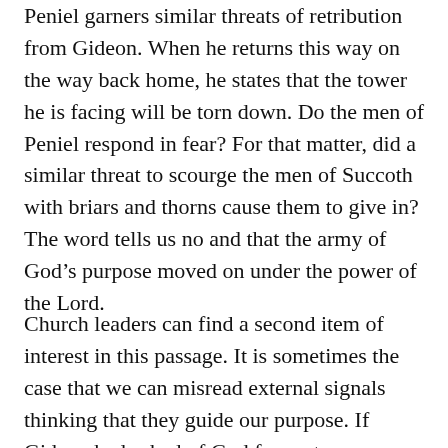Peniel garners similar threats of retribution from Gideon. When he returns this way on the way back home, he states that the tower he is facing will be torn down. Do the men of Peniel respond in fear? For that matter, did a similar threat to scourge the men of Succoth with briars and thorns cause them to give in? The word tells us no and that the army of God’s purpose moved on under the power of the Lord.
Church leaders can find a second item of interest in this passage. It is sometimes the case that we can misread external signals thinking that they guide our purpose. If Gideon had asked of God for sustenance, relying on the people of Succoth and Peniel to be the